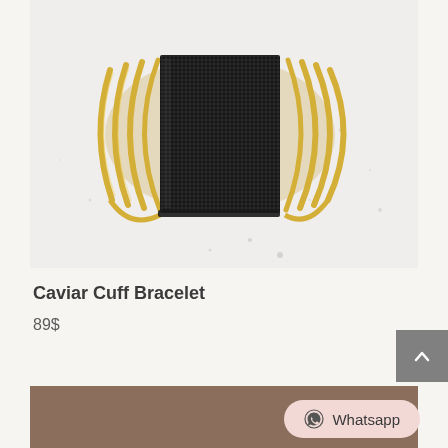[Figure (photo): A gold cuff bracelet with a wide black textured/caviar center band, multiple gold parallel bars on each side, photographed on a light marble/stone surface.]
Caviar Cuff Bracelet
89$
[Figure (other): Brown/tan colored background section at the bottom of the page, partially visible. A WhatsApp button overlay in the bottom right.]